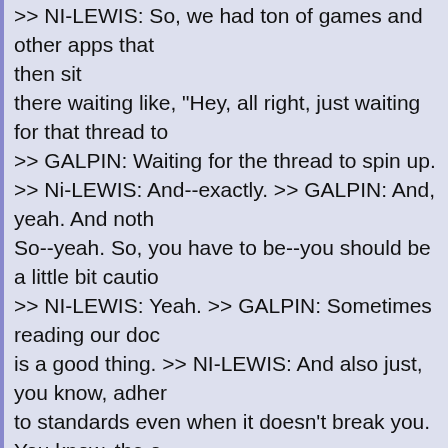>> NI-LEWIS: So, we had ton of games and other apps that then sit there waiting like, "Hey, all right, just waiting for that thread to >> GALPIN: Waiting for the thread to spin up. >> Ni-LEWIS: And--exactly. >> GALPIN: And, yeah. And noth So--yeah. So, you have to be--you should be a little bit cautio >> NI-LEWIS: Yeah. >> GALPIN: Sometimes reading our doc is a good thing. >> NI-LEWIS: And also just, you know, adher to standards even when it doesn't break you. You know, the o believe is the Ice Cream Sandwich timeframe... >> GALPIN: N >> NI-LEWIS: ...was we tightened up the JNI referencing rest >> GALPIN: Oh, we've done that several times. >> NI-LEWIS and this is usually to make things faster. >> GALPIN: Well, some of th you know, when we add a single threaded, you know, everyw >> NI-LEWIS: Uh-hmm. >> GALPIN: There are kind of two th did at once. We went multi CPU. >> NI-LEWIS: Uh-hmm. >> GALPIN: And at the same time we also tightened up JNI a went hand in hand. But for a long time, we weren't cleaning up JNI very pretty